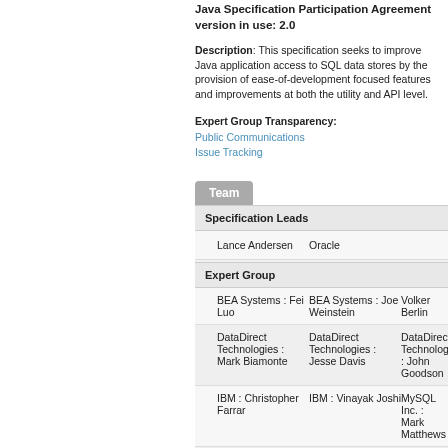Java Specification Participation Agreement version in use: 2.0
Description: This specification seeks to improve Java application access to SQL data stores by the provision of ease-of-development focused features and improvements at both the utility and API level.
Expert Group Transparency:
Public Communications
Issue Tracking
Team
Specification Leads
Lance Andersen   Oracle
Expert Group
BEA Systems : Fei Luo   BEA Systems : Joe Weinstein   Volker Berlin
DataDirect Technologies : Mark Biamonte   DataDirect Technologies : Jesse Davis   DataDirect Technologies : John Goodson
IBM : Christopher Farrar   IBM : Vinayak Joshi   MySQL Inc. : Mark Matthews
New Atlanta   Nokia   Oracle